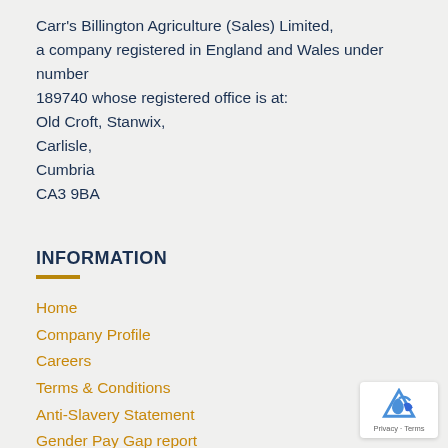Carr's Billington Agriculture (Sales) Limited, a company registered in England and Wales under number 189740 whose registered office is at: Old Croft, Stanwix, Carlisle, Cumbria CA3 9BA
INFORMATION
Home
Company Profile
Careers
Terms & Conditions
Anti-Slavery Statement
Gender Pay Gap report
Privacy & Cookie Policy